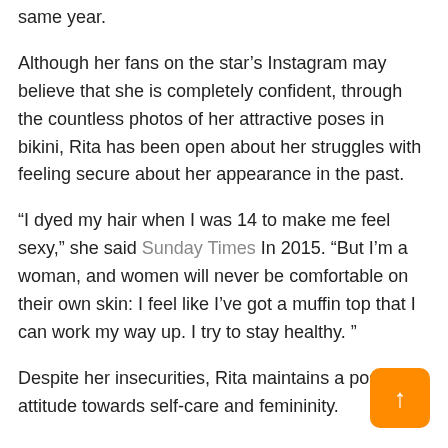same year.
Although her fans on the star’s Instagram may believe that she is completely confident, through the countless photos of her attractive poses in bikini, Rita has been open about her struggles with feeling secure about her appearance in the past.
“I dyed my hair when I was 14 to make me feel sexy,” she said Sunday Times In 2015. “But I’m a woman, and women will never be comfortable on their own skin: I feel like I’ve got a muffin top that I can work my way up. I try to stay healthy. ”
Despite her insecurities, Rita maintains a positive attitude towards self-care and femininity.